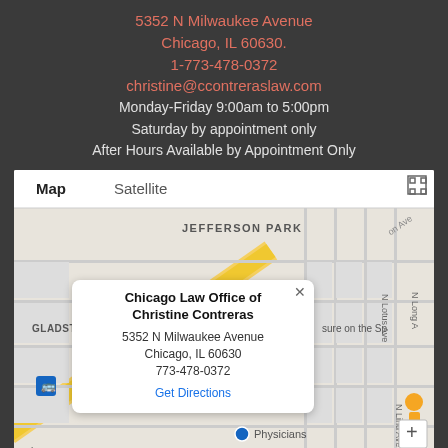5352 N Milwaukee Avenue
Chicago, IL 60630.
1-773-478-0372
christine@ccontreraslaw.com
Monday-Friday 9:00am to 5:00pm
Saturday by appointment only
After Hours Available by Appointment Only
[Figure (map): Google Maps screenshot showing the location of Chicago Law Office of Christine Contreras at 5352 N Milwaukee Avenue, Chicago, IL 60630, with a popup info bubble showing the business name, address, phone number 773-478-0372, and a Get Directions link. Map shows Jefferson Park neighborhood with streets including N Northwest Hwy, N Lotus Ave, N Long Ave, N Lind Ave. Shows Map/Satellite tabs, fullscreen icon, zoom plus button, and a street view person icon. Elly's on Milwaukee and Physicians labels visible.]